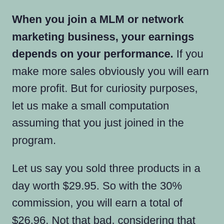When you join a MLM or network marketing business, your earnings depends on your performance. If you make more sales obviously you will earn more profit. But for curiosity purposes, let us make a small computation assuming that you just joined in the program.

Let us say you sold three products in a day worth $29.95. So with the 30% commission, you will earn a total of $26.96. Not that bad, considering that you are just starting in the business. But remember, the more you sell,